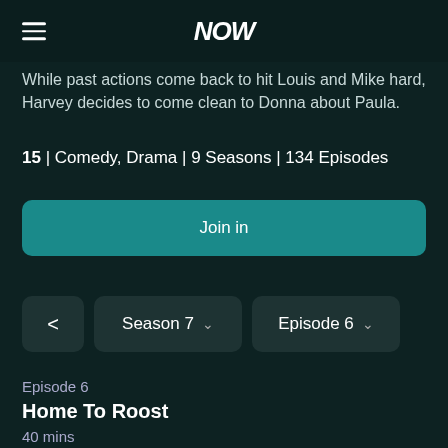NOW
While past actions come back to hit Louis and Mike hard, Harvey decides to come clean to Donna about Paula.
15 | Comedy, Drama | 9 Seasons | 134 Episodes
Join in
< Season 7 ∨  Episode 6 ∨
Episode 6
Home To Roost
40 mins